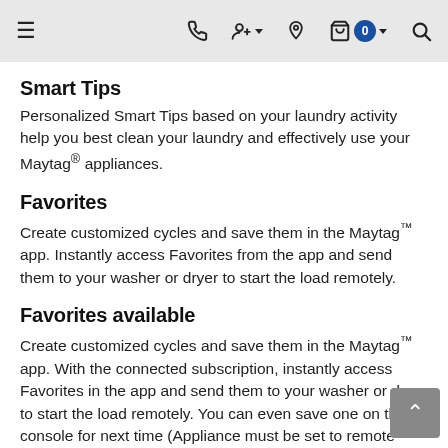Navigation bar with hamburger menu, phone, account, location, cart (0), and search icons
Smart Tips
Personalized Smart Tips based on your laundry activity help you best clean your laundry and effectively use your Maytag® appliances.
Favorites
Create customized cycles and save them in the Maytag™ app. Instantly access Favorites from the app and send them to your washer or dryer to start the load remotely.
Favorites available
Create customized cycles and save them in the Maytag™ app. With the connected subscription, instantly access Favorites in the app and send them to your washer or dryer to start the load remotely. You can even save one on the console for next time (Appliance must be set to remote enable. WiFi, App & Connected Subscription required. Features subject to change. Details & pricing info at maytag.com/connect).